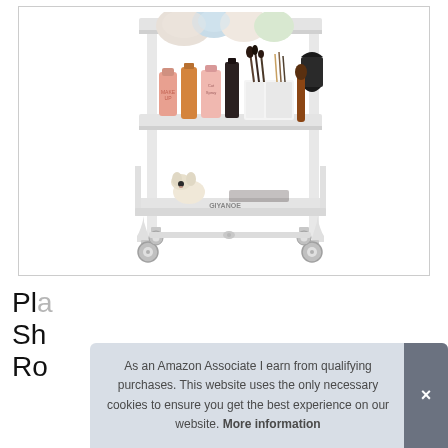[Figure (photo): A white 3-tier rolling utility/storage cart with casters. The top shelf holds rolled towels, the middle shelf has makeup and beauty products including bottles, brushes, and a white organizer caddy, and the bottom shelf has additional items including a small plush dog toy. The cart has a white metal frame and silver caster wheels.]
Pla
Sh
Ro
Storage Rack Kitchen Utility Cart with
As an Amazon Associate I earn from qualifying purchases. This website uses the only necessary cookies to ensure you get the best experience on our website. More information